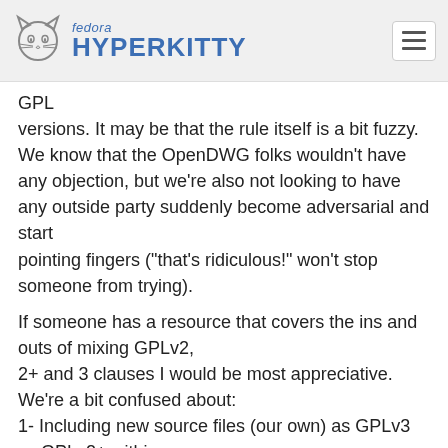fedora HYPERKITTY
GPL
versions. It may be that the rule itself is a bit fuzzy. We know that the OpenDWG folks wouldn't have any objection, but we're also not looking to have any outside party suddenly become adversarial and start
pointing fingers ("that's ridiculous!" won't stop someone from trying).

If someone has a resource that covers the ins and outs of mixing GPLv2,
2+ and 3 clauses I would be most appreciative. We're a bit confused about:
1- Including new source files (our own) as GPLv3 vs GPLv2+ within a
project that is, as a whole, considered GPLv2
2- Linking GPLv3 from old GPLv2 code (such as the OpenDWG situation)
3- The point when a project is considered to be completely reworked and
no longer the property of the original author (such as what